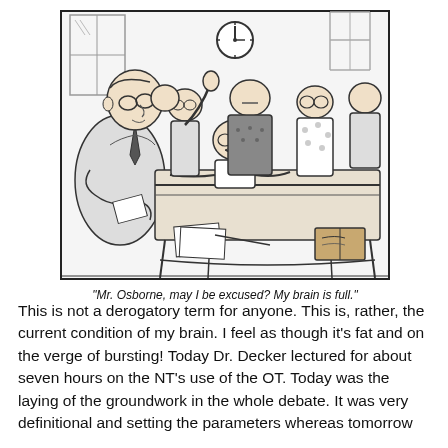[Figure (illustration): A black-and-white cartoon showing a classroom scene. A large teacher/professor stands at the front left holding papers, facing a group of students seated at desks. One student has their hand raised. A clock is visible on the wall above. Papers and a book are on the desks. The scene is drawn in a Far Side comic style.]
"Mr. Osborne, may I be excused? My brain is full."
This is not a derogatory term for anyone. This is, rather, the current condition of my brain. I feel as though it's fat and on the verge of bursting! Today Dr. Decker lectured for about seven hours on the NT's use of the OT. Today was the laying of the groundwork in the whole debate. It was very definitional and setting the parameters whereas tomorrow